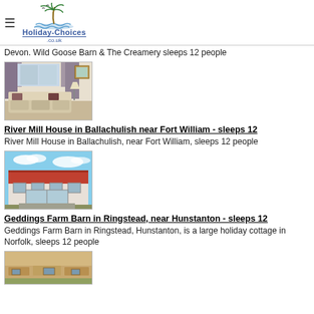Holiday-Choices.co.uk
Devon. Wild Goose Barn & The Creamery sleeps 12 people
[Figure (photo): Interior room photo showing sofa and curtains - Wild Goose Barn]
River Mill House in Ballachulish near Fort William - sleeps 12
River Mill House in Ballachulish, near Fort William, sleeps 12 people
[Figure (photo): Exterior photo of River Mill House showing red roof building under blue sky]
Geddings Farm Barn in Ringstead, near Hunstanton - sleeps 12
Geddings Farm Barn in Ringstead, Hunstanton, is a large holiday cottage in Norfolk, sleeps 12 people
[Figure (photo): Partial exterior photo of Geddings Farm Barn]